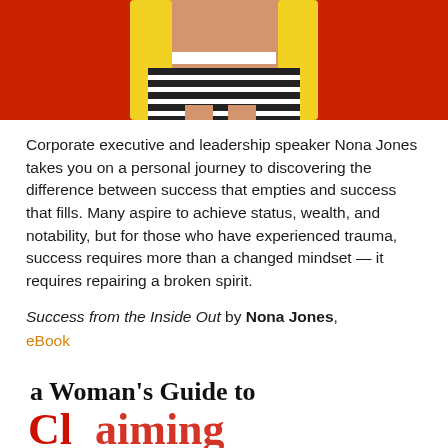[Figure (photo): Cropped photo of a woman from waist down wearing a striped skirt and yellow cardigan against a red background]
Corporate executive and leadership speaker Nona Jones takes you on a personal journey to discovering the difference between success that empties and success that fills. Many aspire to achieve status, wealth, and notability, but for those who have experienced trauma, success requires more than a changed mindset — it requires repairing a broken spirit.
Success from the Inside Out by Nona Jones, eBook
[Figure (photo): Bottom portion of a book cover showing handwritten-style text 'a Woman's Guide to' in black and the beginning of a large red handwritten word below]